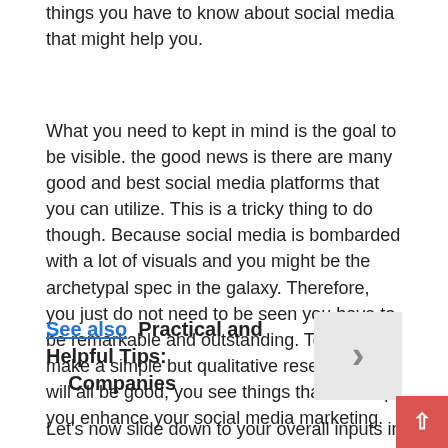things you have to know about social media that might help you.
What you need to kept in mind is the goal to be visible. the good news is there are many good and best social media platforms that you can utilize. This is a tricky thing to do though. Because social media is bombarded with a lot of visuals and you might be the archetypal spec in the galaxy. Therefore, you just do not need to be seen you have to be remarkable and outstanding. To do it, make a simple but qualitative research. This will all be good, you see things that will help you enhance your social media marketing.
See also  Practical and Helpful Tips: Companies
Let's now slide down to your overall inputs in a social media platform. Onc you have succeeded capturing the interest of many people to your page, what you need to do next is make